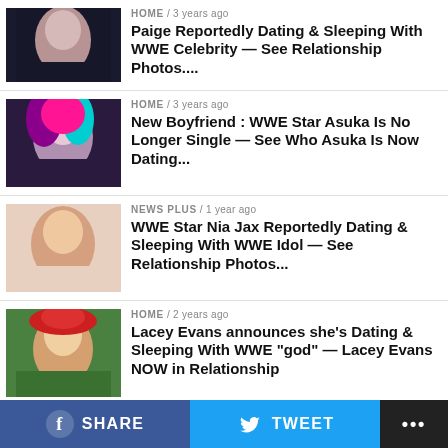HOME / 3 years ago — Paige Reportedly Dating & Sleeping With WWE Celebrity — See Relationship Photos....
HOME / 3 years ago — New Boyfriend : WWE Star Asuka Is No Longer Single — See Who Asuka Is Now Dating...
NEWS PLUS / 1 year ago — WWE Star Nia Jax Reportedly Dating & Sleeping With WWE Idol — See Relationship Photos...
HOME / 2 years ago — Lacey Evans announces she's Dating & Sleeping With WWE "god" — Lacey Evans NOW in Relationship
HOME / 1 year ago — Nia Jax Publicizes She's NOW DATING
SHARE   TWEET   ...